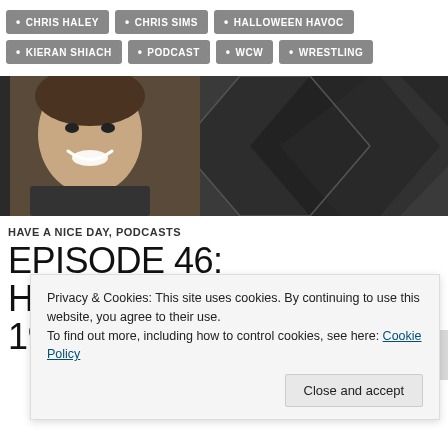CHRIS HALEY
CHRIS SIMS
HALLOWEEN HAVOC
KIERAN SHIACH
PODCAST
WCW
WRESTLING
[Figure (photo): A man smiling in front of a dark geometric patterned backdrop]
HAVE A NICE DAY, PODCASTS
EPISODE 46: HALLOWEEN HAVOC 1993
Privacy & Cookies: This site uses cookies. By continuing to use this website, you agree to their use. To find out more, including how to control cookies, see here: Cookie Policy
Close and accept